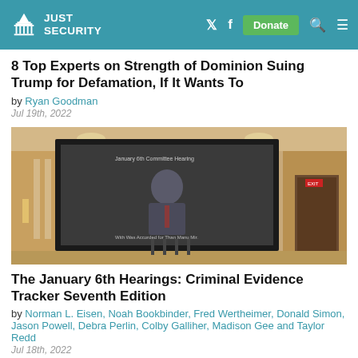JUST SECURITY
8 Top Experts on Strength of Dominion Suing Trump for Defamation, If It Wants To
by Ryan Goodman
Jul 19th, 2022
[Figure (photo): A large projection screen at a hearing room showing a man in a suit speaking, with the text 'January 6th Committee Hearing' visible. The room has ornate gold walls, chandeliers, and columns.]
The January 6th Hearings: Criminal Evidence Tracker Seventh Edition
by Norman L. Eisen, Noah Bookbinder, Fred Wertheimer, Donald Simon, Jason Powell, Debra Perlin, Colby Galliher, Madison Gee and Taylor Redd
Jul 18th, 2022